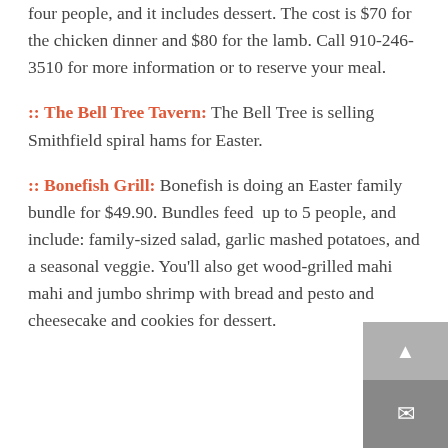four people, and it includes dessert. The cost is $70 for the chicken dinner and $80 for the lamb. Call 910-246-3510 for more information or to reserve your meal.
:: The Bell Tree Tavern: The Bell Tree is selling Smithfield spiral hams for Easter.
:: Bonefish Grill: Bonefish is doing an Easter family bundle for $49.90. Bundles feed up to 5 people, and include: family-sized salad, garlic mashed potatoes, and a seasonal veggie. You'll also get wood-grilled mahi mahi and jumbo shrimp with bread and pesto and cheesecake and cookies for dessert.